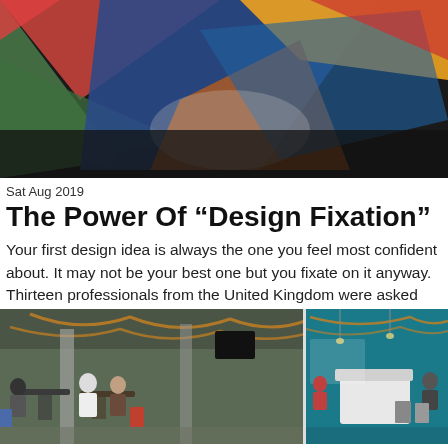[Figure (photo): Colorful geometric abstract art with triangular shapes in red, green, blue, yellow, and orange on a dark background]
Sat Aug 2019
The Power Of “Design Fixation”
Your first design idea is always the one you feel most confident about. It may not be your best one but you fixate on it anyway. Thirteen professionals from the United Kingdom were asked how to work their way around READ MORE »
[Figure (photo): Two photos of modern office or cafeteria spaces with people sitting at tables, industrial-style ceilings, and colorful decor]